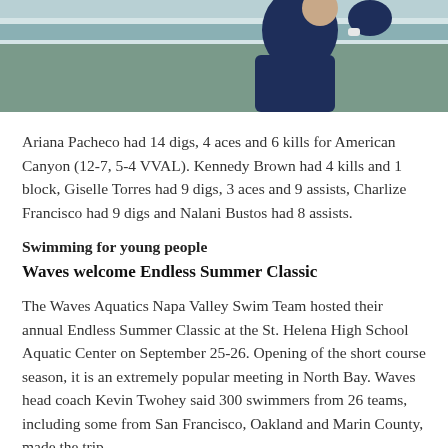[Figure (photo): Photograph of a person in a dark navy shirt, appears to be an athlete in motion, with a green and white striped background (tennis or volleyball court).]
Ariana Pacheco had 14 digs, 4 aces and 6 kills for American Canyon (12-7, 5-4 VVAL). Kennedy Brown had 4 kills and 1 block, Giselle Torres had 9 digs, 3 aces and 9 assists, Charlize Francisco had 9 digs and Nalani Bustos had 8 assists.
Swimming for young people
Waves welcome Endless Summer Classic
The Waves Aquatics Napa Valley Swim Team hosted their annual Endless Summer Classic at the St. Helena High School Aquatic Center on September 25-26. Opening of the short course season, it is an extremely popular meeting in North Bay. Waves head coach Kevin Twohey said 300 swimmers from 26 teams, including some from San Francisco, Oakland and Marin County, made the trip.
“The theme of endless summer makes this a fun meet that